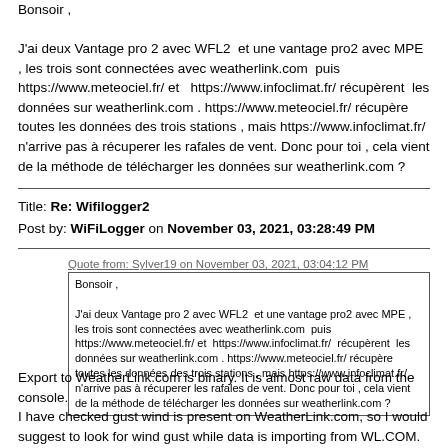Bonsoir ,

J'ai deux Vantage pro 2 avec WFL2  et une vantage pro2 avec MPE , les trois sont connectées avec weatherlink.com  puis https://www.meteociel.fr/ et   https://www.infoclimat.fr/ récupèrent  les données sur weatherlink.com . https://www.meteociel.fr/ récupère toutes les données des trois stations , mais https://www.infoclimat.fr/ n'arrive pas à récuperer les rafales de vent. Donc pour toi , cela vient de la méthode de télécharger les données sur weatherlink.com ?
Title: Re: Wifilogger2
Post by: WiFiLogger on November 03, 2021, 03:28:49 PM
Quote from: Sylver19 on November 03, 2021, 03:04:12 PM
Bonsoir ,

J'ai deux Vantage pro 2 avec WFL2  et une vantage pro2 avec MPE , les trois sont connectées avec weatherlink.com  puis https://www.meteociel.fr/ et  https://www.infoclimat.fr/  récupèrent  les données sur weatherlink.com . https://www.meteociel.fr/ récupère toutes les données des trois stations , mais https://www.infoclimat.fr/ n'arrive pas à récuperer les rafales de vent. Donc pour toi , cela vient de la méthode de télécharger les données sur weatherlink.com ?
Export to WeatherLink.com is binary. It is almost raw data from the console.
I have checked gust wind is present on WeatherLink.com, so I would suggest to look for wind gust while data is importing from WL.COM.
Because WFL is exporting to WL.COM wind gust